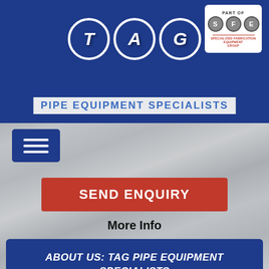[Figure (logo): SFE Specialized Fabrication Equipment Group logo in top right corner, white box with S F E circles]
[Figure (logo): TAG Pipe Equipment Specialists logo with three circular letter badges T, A, G in dark blue with white letters]
PIPE EQUIPMENT SPECIALISTS
[Figure (other): Hamburger menu icon button in dark blue]
[Figure (other): Red SEND ENQUIRY button]
More Info
ABOUT US: TAG PIPE EQUIPMENT SPECIALISTS
The company TAG Pipe Equipment Specialists LTD (TAG PIPE) was originally founded in the United Kingdom in 1985. Its core